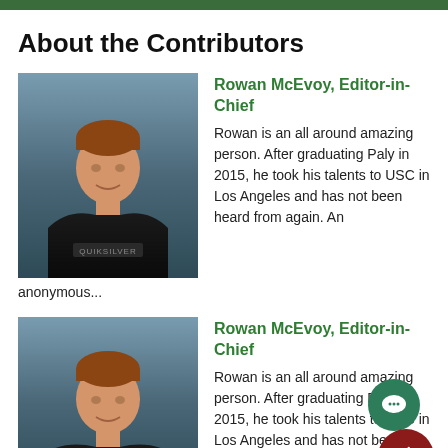About the Contributors
[Figure (photo): Headshot photo of Rowan McEvoy, a young man wearing a black Quiksilver shirt, against a blue-grey background]
Rowan McEvoy, Editor-in-Chief
Rowan is an all around amazing person. After graduating Paly in 2015, he took his talents to USC in Los Angeles and has not been heard from again. An anonymous...
[Figure (photo): Headshot photo of Rowan McEvoy, a young man wearing a black Quiksilver shirt, against a blue-grey background (second instance)]
Rowan McEvoy, Editor-in-Chief
Rowan is an all around amazing person. After graduating Paly in 2015, he took his talents to USC in Los Angeles and has not been